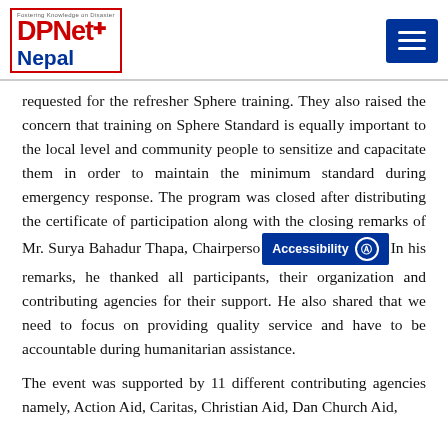DPNet Nepal
requested for the refresher Sphere training. They also raised the concern that training on Sphere Standard is equally important to the local level and community people to sensitize and capacitate them in order to maintain the minimum standard during emergency response. The program was closed after distributing the certificate of participation along with the closing remarks of Mr. Surya Bahadur Thapa, Chairperson... In his remarks, he thanked all participants, their organization and contributing agencies for their support. He also shared that we need to focus on providing quality service and have to be accountable during humanitarian assistance.
The event was supported by 11 different contributing agencies namely, Action Aid, Caritas, Christian Aid, Dan Church Aid,